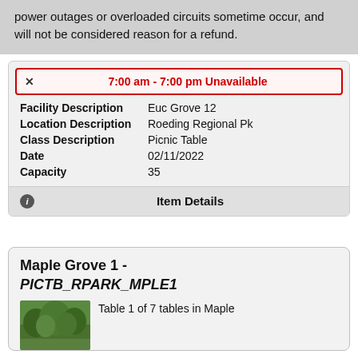power outages or overloaded circuits sometime occur, and will not be considered reason for a refund.
7:00 am - 7:00 pm Unavailable
| Field | Value |
| --- | --- |
| Facility Description | Euc Grove 12 |
| Location Description | Roeding Regional Pk |
| Class Description | Picnic Table |
| Date | 02/11/2022 |
| Capacity | 35 |
Item Details
Maple Grove 1 - PICTB_RPARK_MPLE1
Table 1 of 7 tables in Maple